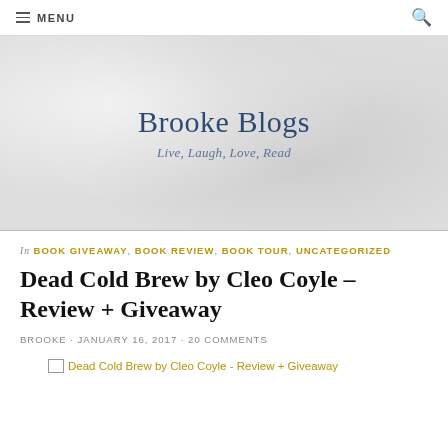≡ MENU
[Figure (other): Brooke Blogs website banner with marble/stone texture background, site title 'Brooke Blogs' and tagline 'Live, Laugh, Love, Read']
Brooke Blogs
Live, Laugh, Love, Read
Dead Cold Brew by Cleo Coyle – Review + Giveaway
In BOOK GIVEAWAY, BOOK REVIEW, BOOK TOUR, UNCATEGORIZED
BROOKE · JANUARY 16, 2017 · 20 COMMENTS
[Figure (photo): Broken image placeholder for Dead Cold Brew by Cleo Coyle - Review + Giveaway]